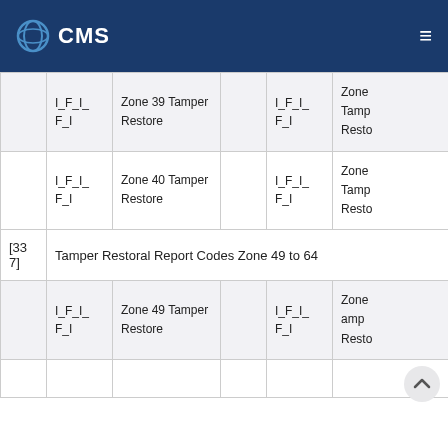CMS
|  |  |  |  |  |  |
| --- | --- | --- | --- | --- | --- |
|  | I_F_I_ F_I | Zone 39 Tamper Restore |  | I_F_I_ F_I | Zone Tamp Resto |
|  | I_F_I_ F_I | Zone 40 Tamper Restore |  | I_F_I_ F_I | Zone Tamp Resto |
| [337] | Tamper Restoral Report Codes Zone 49 to 64 |  |  |  |  |
|  | I_F_I_ F_I | Zone 49 Tamper Restore |  | I_F_I_ F_I | Zone amp Resto |
|  |  |  |  |  |  |